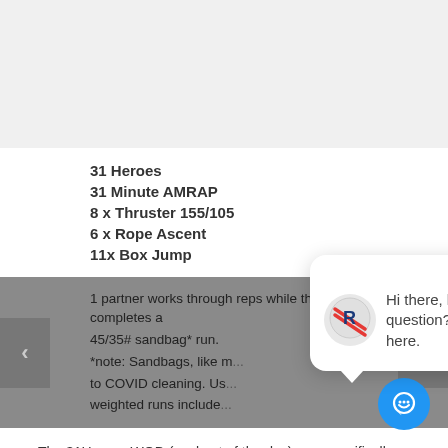31 Heroes
31 Minute AMRAP
8 x Thruster 155/105
6 x Rope Ascent
11x Box Jump
1 partner works through reps while the other completes a 45/35# sandbag* run.
*note: Sandbags, like many shared equipment, are not available due to COVID cleaning. Us... weighted runs include...
[Figure (logo): Gym/fitness brand logo with stylized R and red diagonal lines in a circle]
Hi there, have a question? Text us here.
The 31Heroes WOD (workout of the day) was specifically designed to remember the fallen heroes of August 6, 2011 and honor their legacy of sacrifice.
The 31Heroes WOD will take place approximately once a year the...